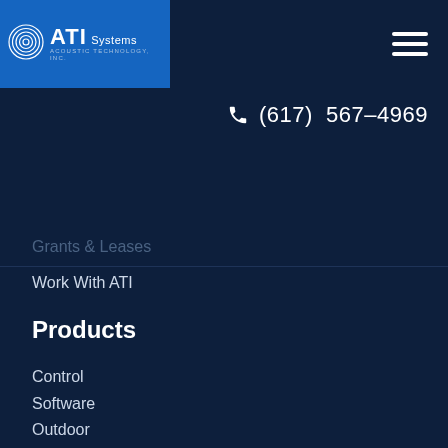[Figure (logo): ATI Systems - Acoustic Technology, Inc. logo on blue background with concentric circles icon]
[Figure (other): Hamburger menu icon (three horizontal white lines)]
(617) 567-4969
Grants & Leases
Work With ATI
Products
Control
Software
Outdoor
Indoor
Mobile
Services
Services